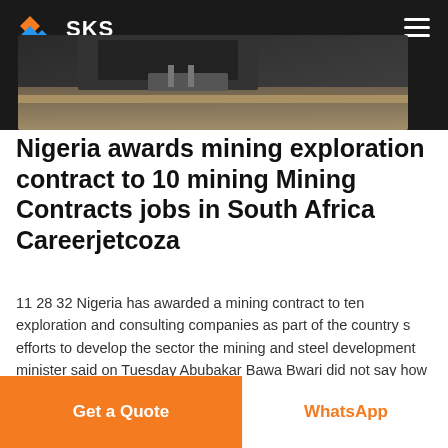SKS crusher expert
[Figure (photo): Industrial machinery/crusher equipment in a dark workshop setting, header hero image]
Nigeria awards mining exploration contract to 10 mining Mining Contracts jobs in South Africa Careerjetcoza
11 28 32 Nigeria has awarded a mining contract to ten exploration and consulting companies as part of the country s efforts to develop the sector the mining and steel development minister said on Tuesday Abubakar Bawa Bwari did not say how much the contracts All Mining Contracts jobs in South Africa on Careerjetcoza the search